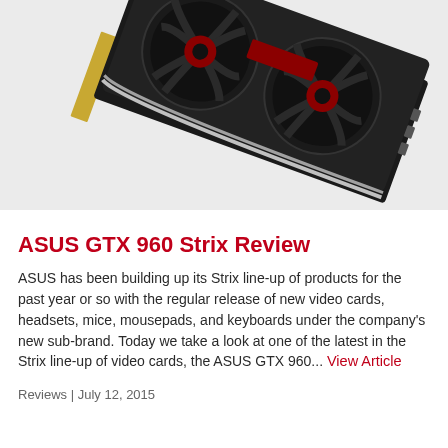[Figure (photo): ASUS GTX 960 Strix graphics card photographed from above at an angle, showing two large black fans with red accents on a white background.]
ASUS GTX 960 Strix Review
ASUS has been building up its Strix line-up of products for the past year or so with the regular release of new video cards, headsets, mice, mousepads, and keyboards under the company's new sub-brand. Today we take a look at one of the latest in the Strix line-up of video cards, the ASUS GTX 960... View Article
Reviews | July 12, 2015